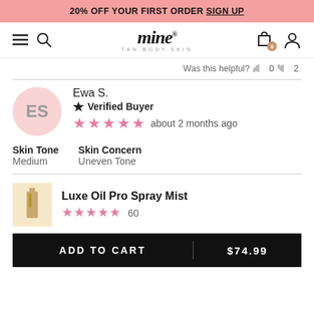20% OFF YOUR FIRST ORDER SIGN UP
[Figure (logo): mine TAN.BODY.SKIN logo with hamburger menu, search icon, shopping bag with badge showing 0, and user icon]
Was this helpful? 👍 0 👎 2
Ewa S. Verified Buyer ★★★★★ about 2 months ago
Skin Tone: Medium  Skin Concern: Uneven Tone
Luxe Oil Pro Spray Mist ★★★★★ 60
ADD TO CART | $74.99